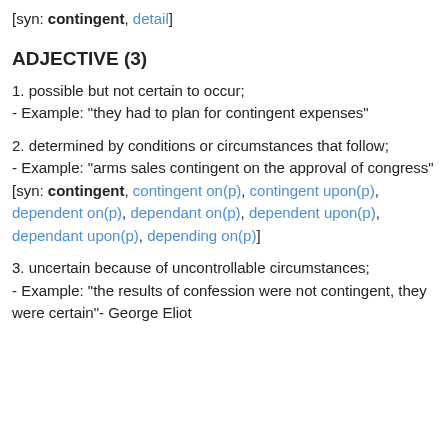[syn: contingent, detail]
ADJECTIVE (3)
1. possible but not certain to occur;
- Example: "they had to plan for contingent expenses"
2. determined by conditions or circumstances that follow;
- Example: "arms sales contingent on the approval of congress"
[syn: contingent, contingent on(p), contingent upon(p), dependent on(p), dependant on(p), dependent upon(p), dependant upon(p), depending on(p)]
3. uncertain because of uncontrollable circumstances;
- Example: "the results of confession were not contingent, they were certain"- George Eliot